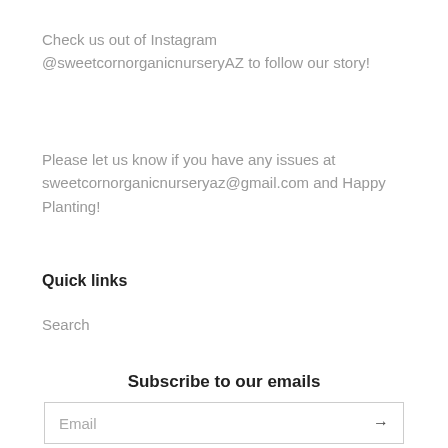Check us out of Instagram @sweetcornorganicnurseryAZ to follow our story!
Please let us know if you have any issues at sweetcornorganicnurseryaz@gmail.com and Happy Planting!
Quick links
Search
Subscribe to our emails
Email